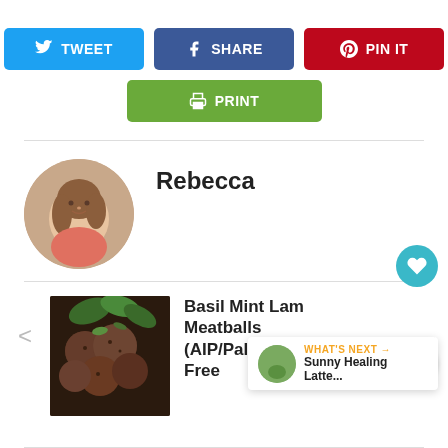[Figure (infographic): Social sharing buttons: TWEET (blue), SHARE (dark blue), PIN IT (red), PRINT (green)]
[Figure (photo): Circular author avatar photo of Rebecca, a woman with brown hair]
Rebecca
[Figure (photo): Food photo of Basil Mint Lamb Meatballs (AIP/Paleo/Sugar Free) - dark meatballs on a plate]
Basil Mint Lamb Meatballs (AIP/Paleo/Suga Free
WHAT'S NEXT → Sunny Healing Latte...